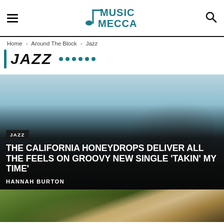Music Mecca — navigation header with hamburger menu, logo, and search icon
Home › Around The Block › Jazz
JAZZ
[Figure (photo): Band photo of The California Honeydrops, several smiling men outdoors against a light blue sky]
THE CALIFORNIA HONEYDROPS DELIVER ALL THE FEELS ON GROOVY NEW SINGLE 'TAKIN' MY TIME'
HANNAH BURTON
[Figure (photo): Partial photo visible at bottom, appears to show a person outdoors with green foliage]